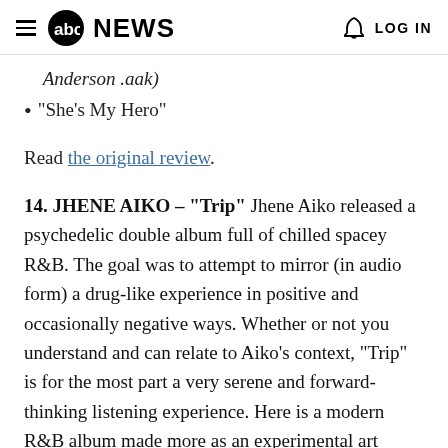abc NEWS  LOG IN
Anderson .aak)
“She’s My Hero”
Read the original review.
14. JHENE AIKO – “Trip” Jhene Aiko released a psychedelic double album full of chilled spacey R&B. The goal was to attempt to mirror (in audio form) a drug-like experience in positive and occasionally negative ways. Whether or not you understand and can relate to Aiko’s context, “Trip” is for the most part a very serene and forward-thinking listening experience. Here is a modern R&B album made more as an experimental art project